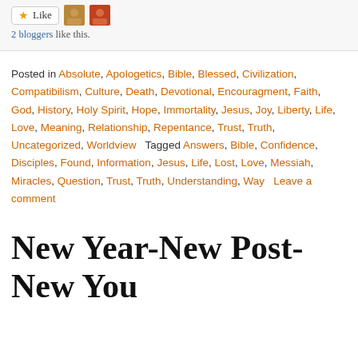[Figure (other): Like button with star icon, two small avatar thumbnails]
2 bloggers like this.
Posted in Absolute, Apologetics, Bible, Blessed, Civilization, Compatibilism, Culture, Death, Devotional, Encouragment, Faith, God, History, Holy Spirit, Hope, Immortality, Jesus, Joy, Liberty, Life, Love, Meaning, Relationship, Repentance, Trust, Truth, Uncategorized, Worldview   Tagged Answers, Bible, Confidence, Disciples, Found, Information, Jesus, Life, Lost, Love, Messiah, Miracles, Question, Trust, Truth, Understanding, Way   Leave a comment
New Year-New Post-New You